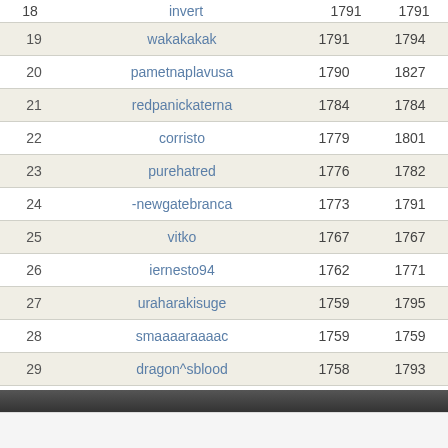| # | Name | Score1 | Score2 |
| --- | --- | --- | --- |
| 18 | invert | 1791 | 1791 |
| 19 | wakakakak | 1791 | 1794 |
| 20 | pametnaplavusa | 1790 | 1827 |
| 21 | redpanickaterna | 1784 | 1784 |
| 22 | corristo | 1779 | 1801 |
| 23 | purehatred | 1776 | 1782 |
| 24 | -newgatebranca | 1773 | 1791 |
| 25 | vitko | 1767 | 1767 |
| 26 | iernesto94 | 1762 | 1771 |
| 27 | uraharakisuge | 1759 | 1795 |
| 28 | smaaaaraaaac | 1759 | 1759 |
| 29 | dragon^sblood | 1758 | 1793 |
| 30 | .runwhenyousee. | 1756 | 1756 |
Serving D